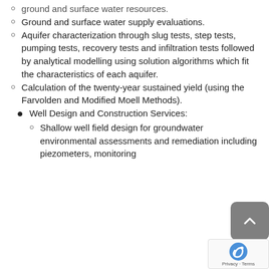ground and surface water resources.
Ground and surface water supply evaluations.
Aquifer characterization through slug tests, step tests, pumping tests, recovery tests and infiltration tests followed by analytical modelling using solution algorithms which fit the characteristics of each aquifer.
Calculation of the twenty-year sustained yield (using the Farvolden and Modified Moell Methods).
Well Design and Construction Services:
Shallow well field design for groundwater environmental assessments and remediation including piezometers, monitoring